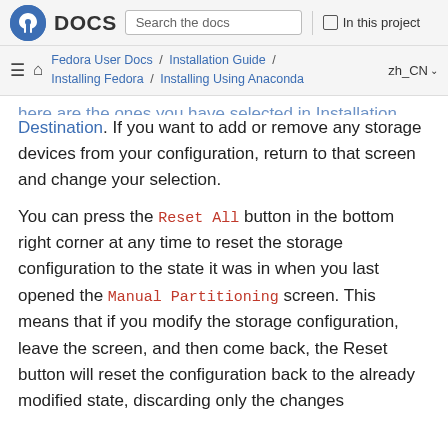Fedora DOCS | Search the docs | In this project
Fedora User Docs / Installation Guide / Installing Fedora / Installing Using Anaconda | zh_CN
here are the ones you have selected in Installation Destination. If you want to add or remove any storage devices from your configuration, return to that screen and change your selection.
You can press the Reset All button in the bottom right corner at any time to reset the storage configuration to the state it was in when you last opened the Manual Partitioning screen. This means that if you modify the storage configuration, leave the screen, and then come back, the Reset button will reset the configuration back to the already modified state, discarding only the changes